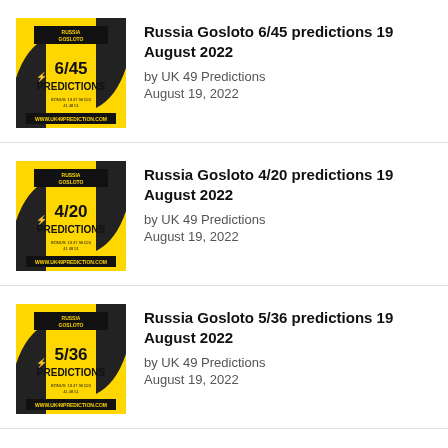[Figure (illustration): Yellow Russia Gosloto 6/45 Predictions thumbnail with black text and lightning bolt design, WWW.UK49PREDICTION.COM at bottom]
Russia Gosloto 6/45 predictions 19 August 2022
by UK 49 Predictions
August 19, 2022
[Figure (illustration): Yellow Russia Gosloto 4/20 Predictions thumbnail with black text and lightning bolt design, WWW.UK49PREDICTION.COM at bottom]
Russia Gosloto 4/20 predictions 19 August 2022
by UK 49 Predictions
August 19, 2022
[Figure (illustration): Yellow Russia Gosloto 5/36 Predictions thumbnail with black text and lightning bolt design, WWW.UK49PREDICTION.COM at bottom]
Russia Gosloto 5/36 predictions 19 August 2022
by UK 49 Predictions
August 19, 2022